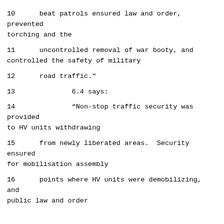10      beat patrols ensured law and order, prevented torching and the
11      uncontrolled removal of war booty, and controlled the safety of military
12      road traffic."
13              6.4 says:
14              "Non-stop traffic security was provided to HV units withdrawing
15      from newly liberated areas.  Security ensured for mobilisation assembly
16      points where HV units were demobilizing, and public law and order